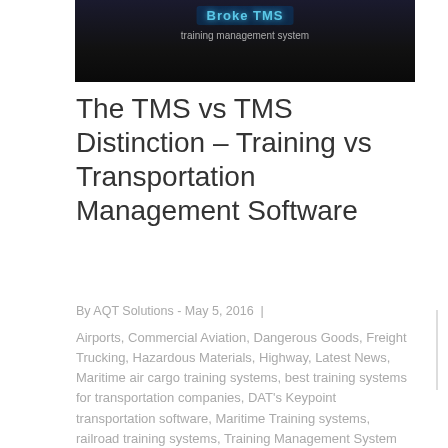[Figure (photo): Dark banner image with 'Broke TMS' text overlay in blue, appears to be a software/training management system screenshot]
The TMS vs TMS Distinction – Training vs Transportation Management Software
By AQT Solutions - May 5, 2016 |
Airports, Commercial Aviation, Dangerous Goods, Freight Trucking, Hazardous Materials, Highway, Latest News, Maritime air cargo training systems, best training systems for transportation companies, DAT's Keypoint transportation software, Maritime Training systems, railroad training systems, Training Management System for Transportation Companies